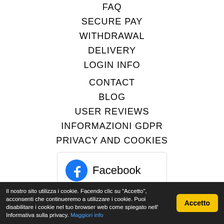FAQ
SECURE PAY
WITHDRAWAL
DELIVERY
LOGIN INFO
CONTACT
BLOG
USER REVIEWS
INFORMAZIONI GDPR
PRIVACY AND COOKIES
[Figure (other): Facebook rating card showing 4.8 stars based on 160 reviews]
Il nostro sito utilizza i cookie. Facendo clic su "Accetto", acconsenti che continueremo a utilizzare i cookie. Puoi disabilitare i cookie nel tuo browser web come spiegato nell' Informativa sulla privacy. Maggiori info